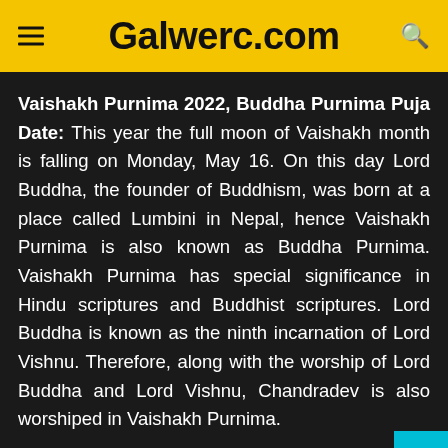Galwerc.com
Vaishakh Purnima 2022, Buddha Purnima Puja Date: This year the full moon of Vaishakh month is falling on Monday, May 16. On this day Lord Buddha, the founder of Buddhism, was born at a place called Lumbini in Nepal, hence Vaishakh Purnima is also known as Buddha Purnima. Vaishakh Purnima has special significance in Hindu scriptures and Buddhist scriptures. Lord Buddha is known as the ninth incarnation of Lord Vishnu. Therefore, along with the worship of Lord Buddha and Lord Vishnu, Chandradev is also worshiped in Vaishakh Purnima.
Prayer date And Auspicious beginning